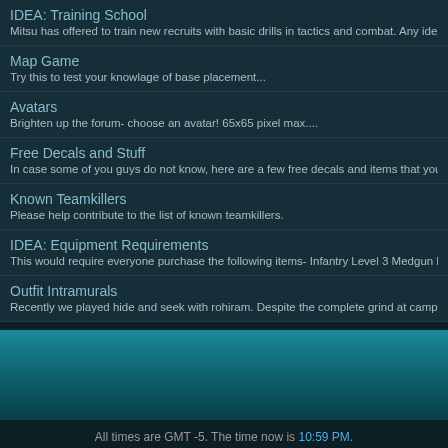IDEA: Training School
Mitsu has offered to train new recruits with basic drills in tactics and combat. Any ideas on
Map Game
Try this to test your knowlage of base placement...
Avatars
Brighten up the forum- choose an avatar! 65x65 pixel max....
Free Decals and Stuff
In case some of you guys do not know, here are a few free decals and items that you can
Known Teamkillers
Please help contribute to the list of known teamkillers.
IDEA: Equipment Requirements
This would require everyone purchase the following items- Infantry Level 3 Medgun Level
Outfit Intramurals
Recently we played hide and seek with rohiram. Despite the complete grind at camp wate
[Figure (other): Teal/dark gradient banner footer area]
All times are GMT -5. The time now is 10:59 PM.
Content © 2002-2013, PlanetSide-Universe.com. All rights reserved.
PlanetSide and the SOE logo are registered trademarks of Sony Online Entertainment